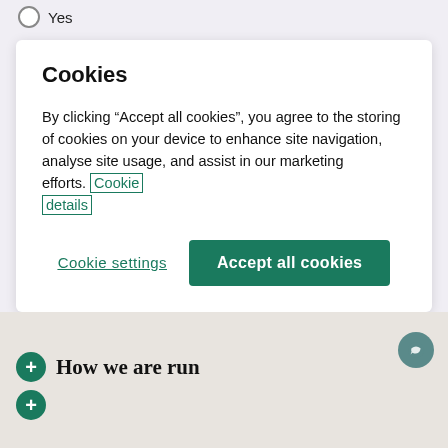Yes
Cookies
By clicking “Accept all cookies”, you agree to the storing of cookies on your device to enhance site navigation, analyse site usage, and assist in our marketing efforts. Cookie details
Cookie settings
Accept all cookies
How we are run